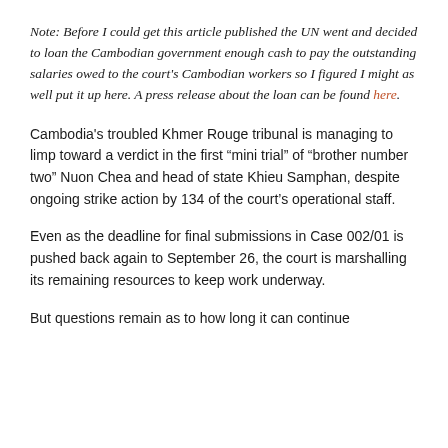Note: Before I could get this article published the UN went and decided to loan the Cambodian government enough cash to pay the outstanding salaries owed to the court's Cambodian workers so I figured I might as well put it up here. A press release about the loan can be found here.
Cambodia's troubled Khmer Rouge tribunal is managing to limp toward a verdict in the first “mini trial” of “brother number two” Nuon Chea and head of state Khieu Samphan, despite ongoing strike action by 134 of the court’s operational staff.
Even as the deadline for final submissions in Case 002/01 is pushed back again to September 26, the court is marshalling its remaining resources to keep work underway.
But questions remain as to how long it can continue